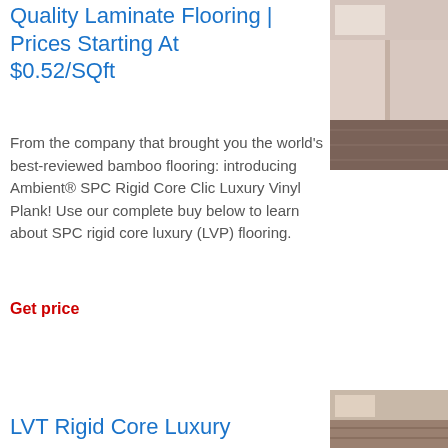Quality Laminate Flooring | Prices Starting At $0.52/SQft
[Figure (photo): Photo of a kitchen/room interior showing laminate flooring and cabinetry]
From the company that brought you the world's best-reviewed bamboo flooring: introducing Ambient® SPC Rigid Core Click Luxury Vinyl Plank! Use our complete buyer's guide below to learn about SPC rigid core luxury vinyl plank (LVP) flooring.
Get price
LVT Rigid Core Luxury
[Figure (photo): Photo of a room interior showing LVT rigid core luxury flooring]